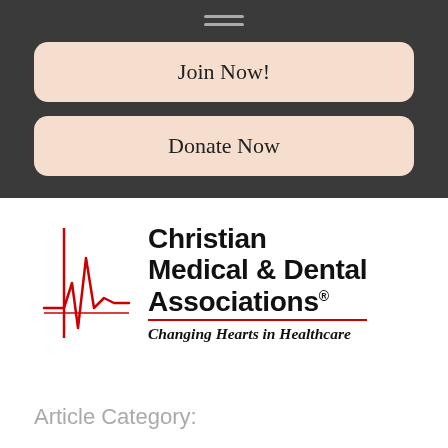navigation menu header with Join Now! and Donate Now buttons
Join Now!
Donate Now
[Figure (logo): Christian Medical & Dental Associations logo with red ECG heartbeat line graphic and tagline: Changing Hearts in Healthcare]
Article Category: